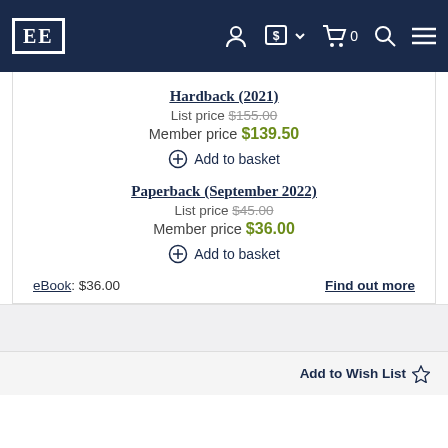EE [logo] navigation bar with account, currency, cart, search, menu icons
Hardback (2021)
List price $155.00
Member price $139.50
⊕ Add to basket
Paperback (September 2022)
List price $45.00
Member price $36.00
⊕ Add to basket
eBook: $36.00    Find out more
Add to Wish List ☆